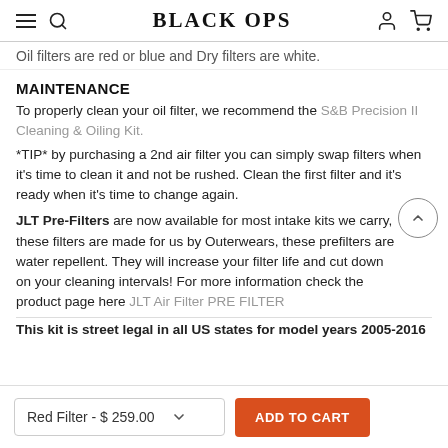BLACK OPS
Oil filters are red or blue and Dry filters are white.
MAINTENANCE
To properly clean your oil filter, we recommend the S&B Precision II Cleaning & Oiling Kit.
*TIP* by purchasing a 2nd air filter you can simply swap filters when it's time to clean it and not be rushed. Clean the first filter and it's ready when it's time to change again.
JLT Pre-Filters are now available for most intake kits we carry, these filters are made for us by Outerwears, these prefilters are water repellent. They will increase your filter life and cut down on your cleaning intervals! For more information check the product page here JLT Air Filter PRE FILTER
This kit is street legal in all US states for model years 2005-2016
Red Filter - $ 259.00
ADD TO CART